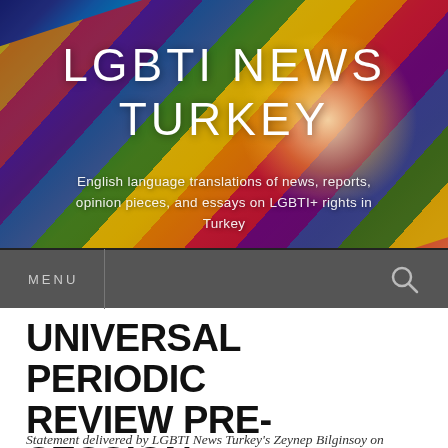[Figure (photo): Rainbow pride flag background with colorful stripes and a bright light glow on the right side, used as hero banner for LGBTI News Turkey website]
LGBTI NEWS TURKEY
English language translations of news, reports, opinion pieces, and essays on LGBTI+ rights in Turkey
MENU
UNIVERSAL PERIODIC REVIEW PRE-SESSION STATEMENT
Statement delivered by LGBTI News Turkey's Zeynep Bilginsoy on